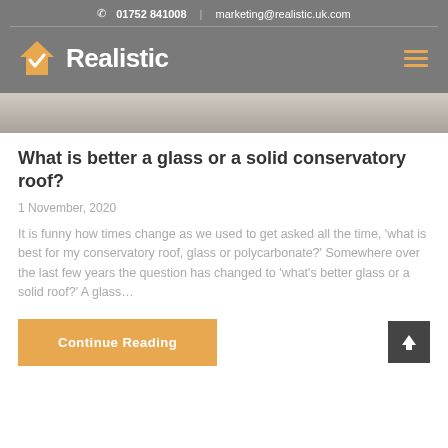📞 01752 841008  |  marketing@realistic.uk.com
[Figure (logo): Realistic company logo — orange house with checkmark icon and white bold text 'Realistic' on grey background]
[Figure (photo): Partial photo strip showing a person working, grey/muted tones]
What is better a glass or a solid conservatory roof?
1 November, 2020
It is funny how times change as we used to get asked all the time, 'what is best for my conservatory roof, glass or polycarbonate?' Somewhere over the last few years the question has changed to 'what's better glass or a solid roof?' A glass…
Continue Reading